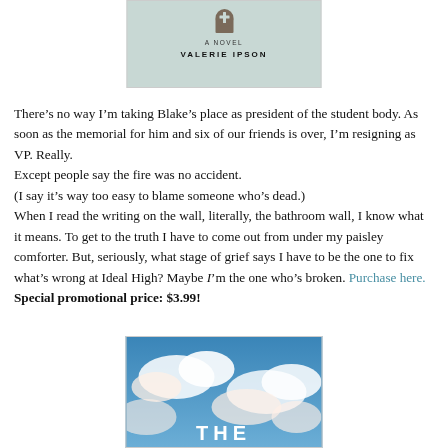[Figure (illustration): Top portion of a book cover showing 'A NOVEL' text, a tombstone/gravestone icon with a cross, and author name 'VALERIE IPSON' on a muted teal/grey background with a white border.]
There’s no way I’m taking Blake’s place as president of the student body. As soon as the memorial for him and six of our friends is over, I’m resigning as VP. Really.
Except people say the fire was no accident.
(I say it’s way too easy to blame someone who’s dead.)
When I read the writing on the wall, literally, the bathroom wall, I know what it means. To get to the truth I have to come out from under my paisley comforter. But, seriously, what stage of grief says I have to be the one to fix what’s wrong at Ideal High? Maybe I’m the one who’s broken. Purchase here. Special promotional price: $3.99!
[Figure (illustration): Bottom portion of a book cover showing a blue sky with clouds and the beginning of a title 'THE' in white bold letters at the bottom.]